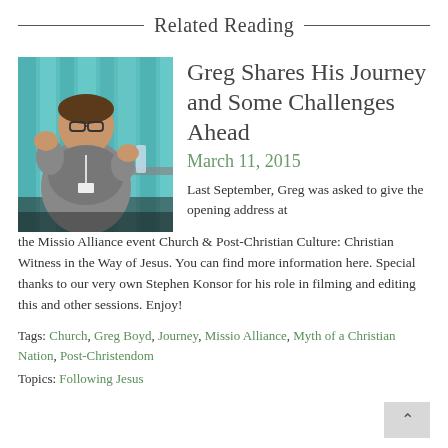Related Reading
[Figure (photo): A man with glasses speaking at an event, gesturing with hands, wearing a lanyard, with teal curtains and a water bottle in the background.]
Greg Shares His Journey and Some Challenges Ahead
March 11, 2015
Last September, Greg was asked to give the opening address at the Missio Alliance event Church & Post-Christian Culture: Christian Witness in the Way of Jesus. You can find more information here. Special thanks to our very own Stephen Konsor for his role in filming and editing this and other sessions. Enjoy!
Tags: Church, Greg Boyd, Journey, Missio Alliance, Myth of a Christian Nation, Post-Christendom
Topics: Following Jesus